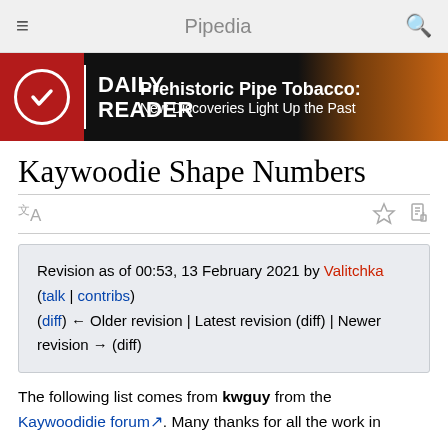Pipedia
[Figure (illustration): Daily Reader advertisement banner: Prehistoric Pipe Tobacco: New Discoveries Light Up the Past]
Kaywoodie Shape Numbers
Revision as of 00:53, 13 February 2021 by Valitchka (talk | contribs)
(diff) ← Older revision | Latest revision (diff) | Newer revision → (diff)
The following list comes from kwguy from the Kaywoodidie forum. Many thanks for all the work in